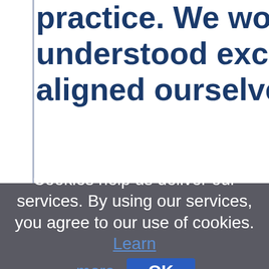practice. We wouldn't have understood except we have aligned ourselves with th
Cookies help us deliver our services. By using our services, you agree to our use of cookies. Learn more